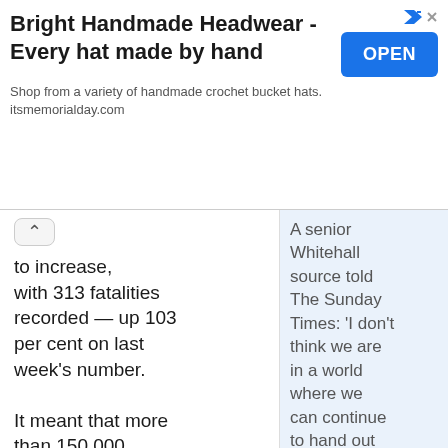[Figure (screenshot): Advertisement banner for Bright Handmade Headwear with OPEN button]
to increase, with 313 fatalities recorded — up 103 per cent on last week's number.

It meant that more than 150,000 people have now died within 28 days of testing positive for Covid-19 since the start of the pandemic nearly two years ago.
A senior Whitehall source told The Sunday Times: 'I don't think we are in a world where we can continue to hand out free lateral flow tests to everybody for evermore.

'It's likely we